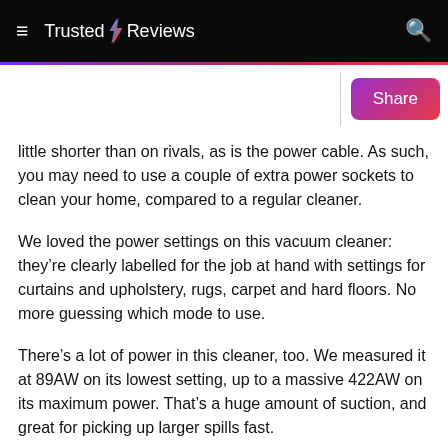Trusted Reviews
little shorter than on rivals, as is the power cable. As such, you may need to use a couple of extra power sockets to clean your home, compared to a regular cleaner.
We loved the power settings on this vacuum cleaner: they’re clearly labelled for the job at hand with settings for curtains and upholstery, rugs, carpet and hard floors. No more guessing which mode to use.
There’s a lot of power in this cleaner, too. We measured it at 89AW on its lowest setting, up to a massive 422AW on its maximum power. That’s a huge amount of suction, and great for picking up larger spills fast.
In our real-world tests, we found that mess on carpet was